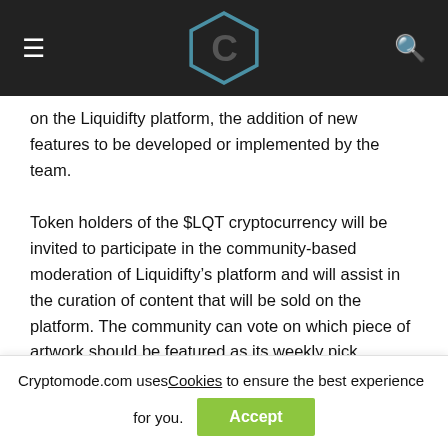Cryptomode logo navigation bar with hamburger menu and search icon
on the Liquidifty platform, the addition of new features to be developed or implemented by the team.
Token holders of the $LQT cryptocurrency will be invited to participate in the community-based moderation of Liquidifty’s platform and will assist in the curation of content that will be sold on the platform. The community can vote on which piece of artwork should be featured as its weekly pick, providing the artist with an additional boost in the amount of exposure that they require.
Benefits of Liquidifty Marketplace
Cryptomode.com uses Cookies to ensure the best experience for you. Accept